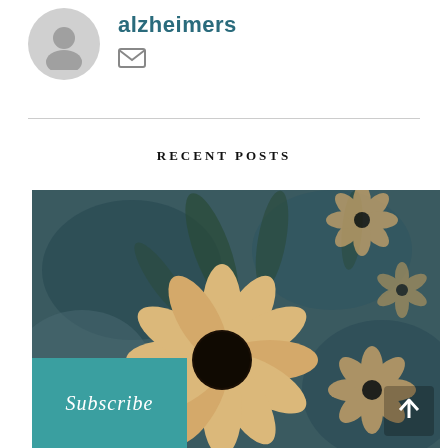[Figure (illustration): Default user avatar circle icon — grey circular avatar placeholder with a person silhouette]
alzheimers
[Figure (illustration): Email/envelope icon in grey]
RECENT POSTS
[Figure (photo): Close-up photo of yellow/orange sunflowers (black-eyed Susans) with blurred teal/dark background. Multiple flowers visible with prominent dark centers.]
Subscribe